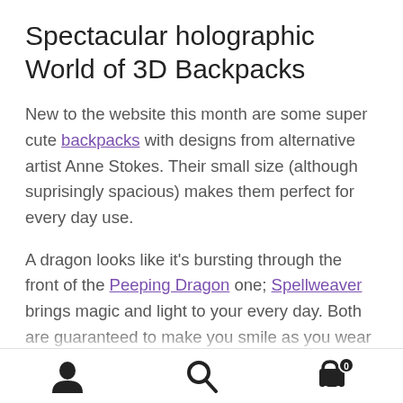Spectacular holographic World of 3D Backpacks
New to the website this month are some super cute backpacks with designs from alternative artist Anne Stokes.  Their small size (although suprisingly spacious) makes them perfect for every day use.
A dragon looks like it’s bursting through the front of the Peeping Dragon one; Spellweaver brings magic and light to your every day.  Both are guaranteed to make you smile as you wear
[Figure (other): Mobile navigation bar with user/account icon, search icon, and shopping cart icon with badge showing 0]